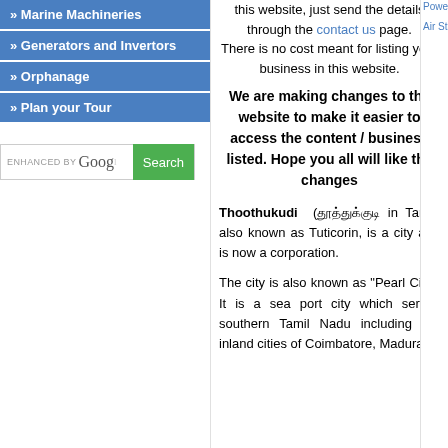» Marine Machineries
» Generators and Invertors
» Orphanage
» Plan your Tour
[Figure (screenshot): Google custom search bar with 'ENHANCED BY Goog' label and green Search button]
this website, just send the details through the contact us page.
There is no cost meant for listing your business in this website.
We are making changes to the website to make it easier to access the content / business listed. Hope you all will like the changes
Thoothukudi (தூத்துக்குடி in Tamil) also known as Tuticorin, is a city and is now a corporation.
The city is also known as "Pearl City". It is a sea port city which serves southern Tamil Nadu including the inland cities of Coimbatore, Madurai
Powerful City
Air Station At Tut